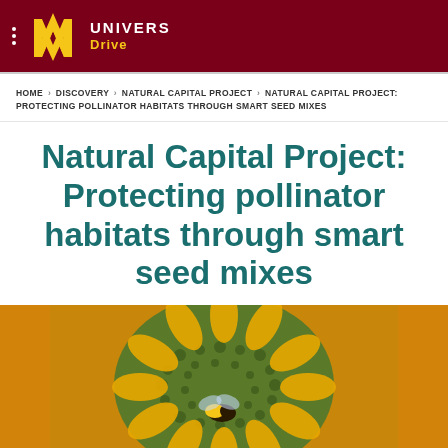UNIVERS Drive
HOME > DISCOVERY > NATURAL CAPITAL PROJECT > NATURAL CAPITAL PROJECT: PROTECTING POLLINATOR HABITATS THROUGH SMART SEED MIXES
Natural Capital Project: Protecting pollinator habitats through smart seed mixes
[Figure (photo): Close-up photograph of a bee on a sunflower, showing the textured yellow and green center of the flower with a bee in the lower center area.]